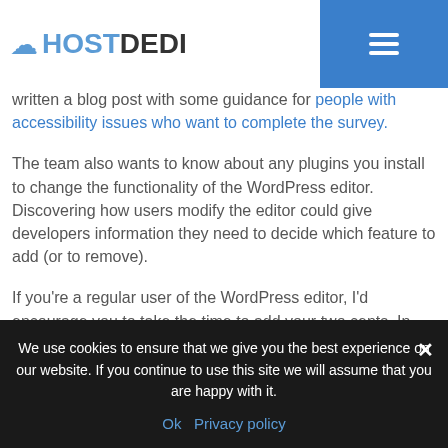HOSTDEDI
written a blog post with some guidance for people with accessibility issues who want to complete the survey.
The team also wants to know about any plugins you install to change the functionality of the WordPress editor. Discovering how users modify the editor could give developers information they need to decide which feature to add (or to remove).
If you're a regular user of the WordPress editor, I'd encourage you to take the time to add your two cents. In the absence of telemetry data showing real-
We use cookies to ensure that we give you the best experience on our website. If you continue to use this site we will assume that you are happy with it.
Ok   Privacy policy